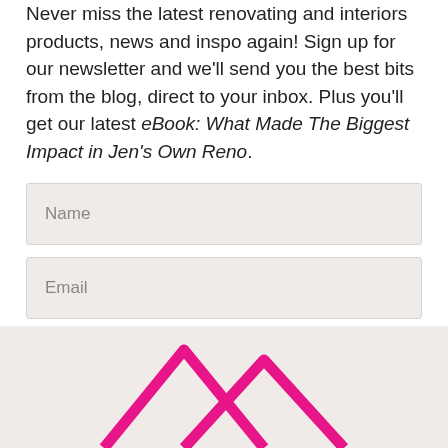Never miss the latest renovating and interiors products, news and inspo again! Sign up for our newsletter and we'll send you the best bits from the blog, direct to your inbox. Plus you'll get our latest eBook: What Made The Biggest Impact in Jen's Own Reno.
Name
Email
YES PLEASE!
[Figure (logo): Pink mountain/chevron logo mark at the bottom of the page on a light beige background]